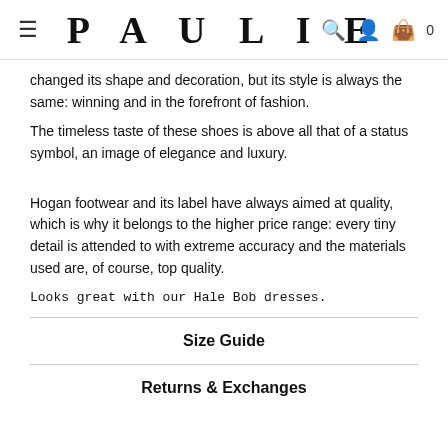PAULIE
changed its shape and decoration, but its style is always the same: winning and in the forefront of fashion.
The timeless taste of these shoes is above all that of a status symbol, an image of elegance and luxury.
Hogan footwear and its label have always aimed at quality, which is why it belongs to the higher price range: every tiny detail is attended to with extreme accuracy and the materials used are, of course, top quality.
Looks great with our Hale Bob dresses.
Size Guide
Returns & Exchanges